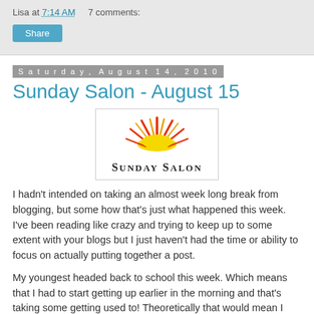Lisa at 7:14 AM    7 comments:
Share
Saturday, August 14, 2010
Sunday Salon - August 15
[Figure (logo): Sunday Salon logo with stylized sun rays above the text 'SUNDAY SALON']
I hadn't intended on taking an almost week long break from blogging, but some how that's just what happened this week. I've been reading like crazy and trying to keep up to some extent with your blogs but I just haven't had the time or ability to focus on actually putting together a post.
My youngest headed back to school this week. Which means that I had to start getting up earlier in the morning and that's taking some getting used to! Theoretically that would mean I